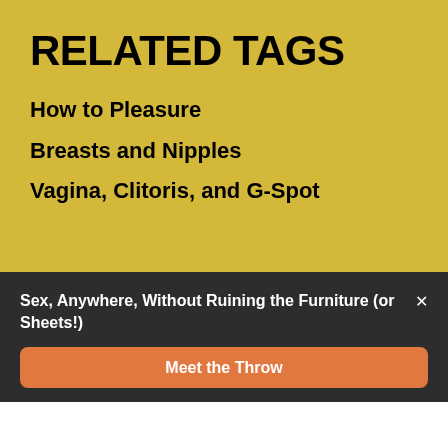RELATED TAGS
How to Pleasure
Breasts and Nipples
Vagina, Clitoris, and G-Spot
[Figure (illustration): Pink section with a darker pink circle partially visible on the right side]
Sex, Anywhere, Without Ruining the Furniture (or Sheets!)
Meet the Throw